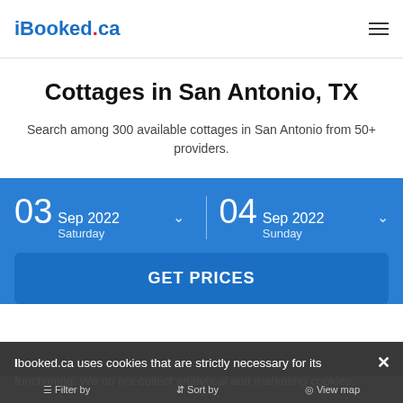iBooked.ca
Cottages in San Antonio, TX
Search among 300 available cottages in San Antonio from 50+ providers.
03 Sep 2022 Saturday
04 Sep 2022 Sunday
GET PRICES
Ibooked.ca uses cookies that are strictly necessary for its functioning. We do not collect analytical and marketing cookies.